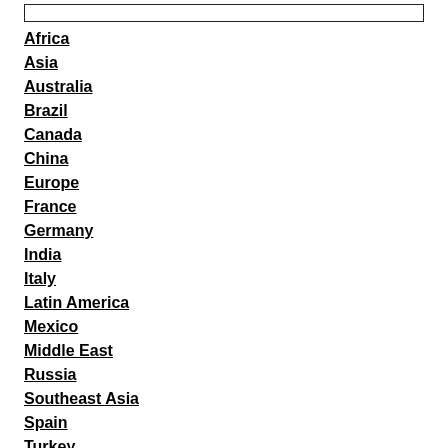Africa
Asia
Australia
Brazil
Canada
China
Europe
France
Germany
India
Italy
Latin America
Mexico
Middle East
Russia
Southeast Asia
Spain
Turkey